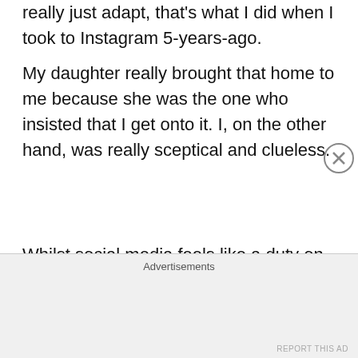really just adapt, that's what I did when I took to Instagram 5-years-ago.
My daughter really brought that home to me because she was the one who insisted that I get onto it. I, on the other hand, was really sceptical and clueless.
Whilst social media feels like a duty on some days but 75%-80% of the time it is thoroughly enjoyable.
I enjoy my sense of humour thoroughly. I am the
Advertisements